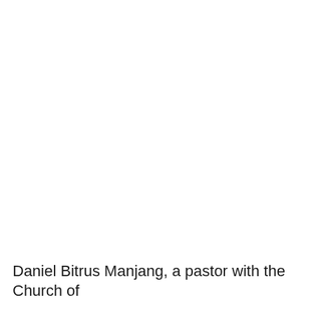Daniel Bitrus Manjang, a pastor with the Church of